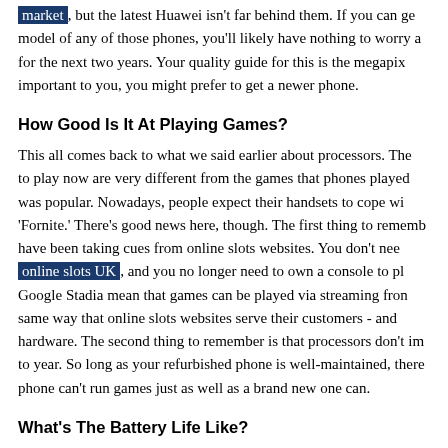market, but the latest Huawei isn't far behind them. If you can get a model of any of those phones, you'll likely have nothing to worry about for the next two years. Your quality guide for this is the megapixel - important to you, you might prefer to get a newer phone.
How Good Is It At Playing Games?
This all comes back to what we said earlier about processors. The games to play now are very different from the games that phones played when it was popular. Nowadays, people expect their handsets to cope with 'Fornite.' There's good news here, though. The first thing to remember is have been taking cues from online slots websites. You don't need online slots UK, and you no longer need to own a console to play. Google Stadia mean that games can be played via streaming from the same way that online slots websites serve their customers - and the hardware. The second thing to remember is that processors don't improve year to year. So long as your refurbished phone is well-maintained, there's a phone can't run games just as well as a brand new one can.
What's The Battery Life Like?
This is the real killer when it comes to picking up a second-hand o